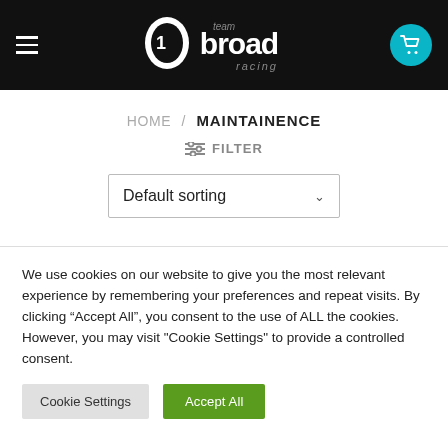Team Broad Racing — navigation header with logo and cart
HOME / MAINTAINENCE
≡ FILTER
Default sorting
We use cookies on our website to give you the most relevant experience by remembering your preferences and repeat visits. By clicking "Accept All", you consent to the use of ALL the cookies. However, you may visit "Cookie Settings" to provide a controlled consent.
Cookie Settings
Accept All